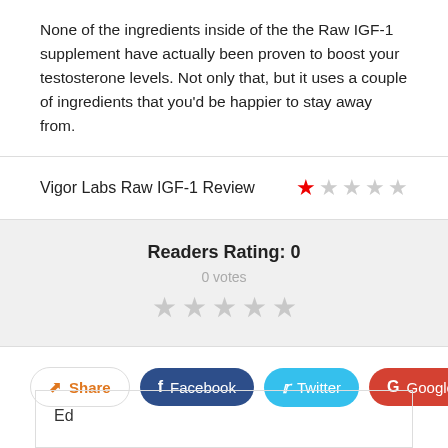None of the ingredients inside of the the Raw IGF-1 supplement have actually been proven to boost your testosterone levels. Not only that, but it uses a couple of ingredients that you'd be happier to stay away from.
Vigor Labs Raw IGF-1 Review
Readers Rating: 0
0 votes
Share  Facebook  Twitter  Google+
Ed